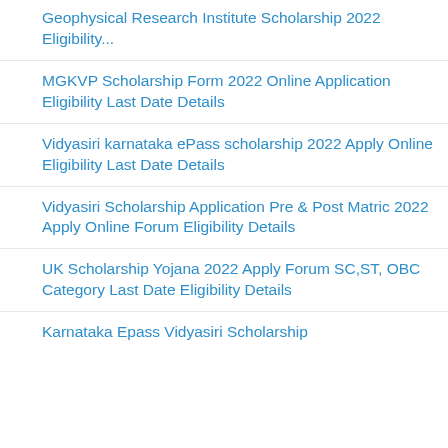Geophysical Research Institute Scholarship 2022 Eligibility...
MGKVP Scholarship Form 2022 Online Application Eligibility Last Date Details
Vidyasiri karnataka ePass scholarship 2022 Apply Online Eligibility Last Date Details
Vidyasiri Scholarship Application Pre & Post Matric 2022 Apply Online Forum Eligibility Details
UK Scholarship Yojana 2022 Apply Forum SC,ST, OBC Category Last Date Eligibility Details
Karnataka Epass Vidyasiri Scholarship...